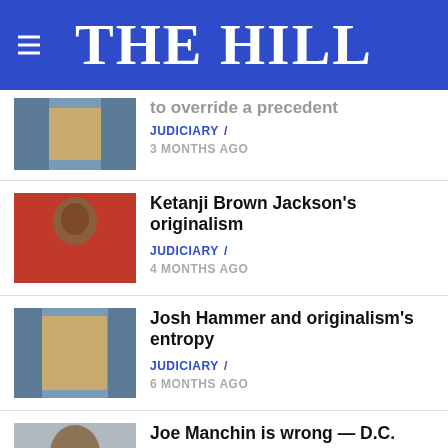THE HILL
[Figure (photo): Thumbnail image, partially cut off at top - person holding document]
to override a precedent
JUDICIARY / 3 MONTHS AGO
[Figure (photo): Ketanji Brown Jackson speaking, wearing red jacket]
Ketanji Brown Jackson's originalism
JUDICIARY / 4 MONTHS AGO
[Figure (photo): Person holding document in front of face]
Josh Hammer and originalism's entropy
JUDICIARY / 6 MONTHS AGO
[Figure (photo): Joe Manchin photo, partially cut off]
Joe Manchin is wrong — D.C.